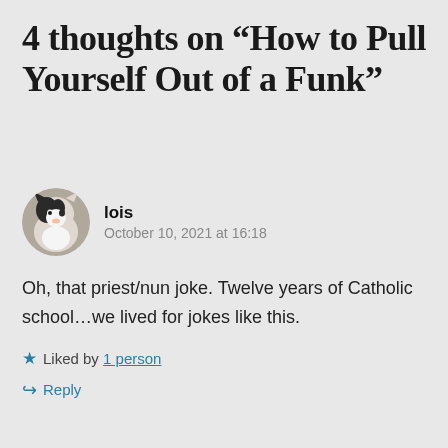4 thoughts on “How to Pull Yourself Out of a Funk”
[Figure (photo): Circular avatar of a black and white cat]
lois
October 10, 2021 at 16:18
Oh, that priest/nun joke. Twelve years of Catholic school…we lived for jokes like this.
Liked by 1 person
Reply